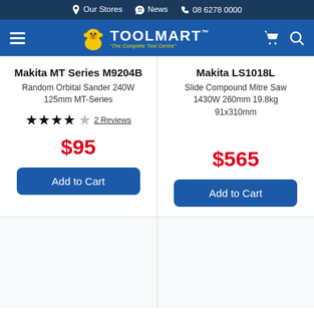Our Stores  News  08 6278 0000
[Figure (logo): Toolmart logo with gorilla mascot and tagline 'The Complete Tool Centre']
Makita MT Series M9204B
Random Orbital Sander 240W 125mm MT-Series
★★★★☆ 2 Reviews
$95
Add to Cart
Makita LS1018L
Slide Compound Mitre Saw 1430W 260mm 19.8kg 91x310mm
$565
Add to Cart